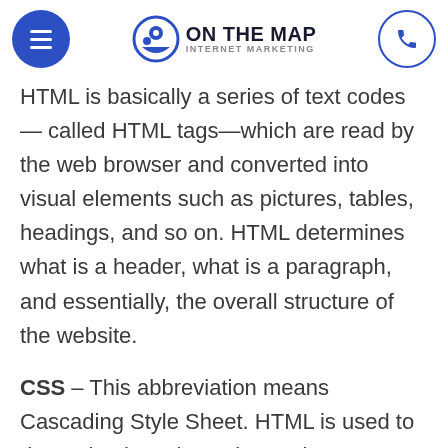On The Map Internet Marketing – navigation header with hamburger menu, logo, and phone button
HTML is basically a series of text codes — called HTML tags—which are read by the web browser and converted into visual elements such as pictures, tables, headings, and so on. HTML determines what is a header, what is a paragraph, and essentially, the overall structure of the website.
CSS – This abbreviation means Cascading Style Sheet. HTML is used to determine how the webpage is structured, while CSS determines how it is styled. This includes how the page is